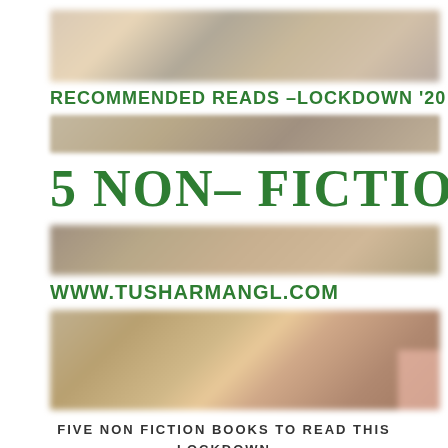[Figure (photo): Blurred bookshelf / books photo strip 1]
RECOMMENDED READS –LOCKDOWN '20
[Figure (photo): Blurred bookshelf / books photo strip 2]
5 NON– FICTION BO
[Figure (photo): Blurred bookshelf / books photo strip 3]
WWW.TUSHARMANGL.COM
[Figure (photo): Blurred colorful books photo strip 4 with pink/salmon corner element]
FIVE NON FICTION BOOKS TO READ THIS LOCKDOWN